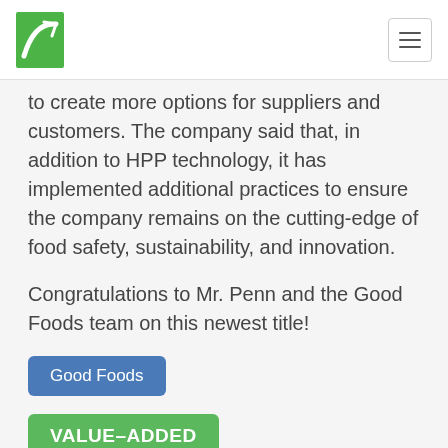to create more options for suppliers and customers. The company said that, in addition to HPP technology, it has implemented additional practices to ensure the company remains on the cutting-edge of food safety, sustainability, and innovation.
Congratulations to Mr. Penn and the Good Foods team on this newest title!
Good Foods
VALUE-ADDED